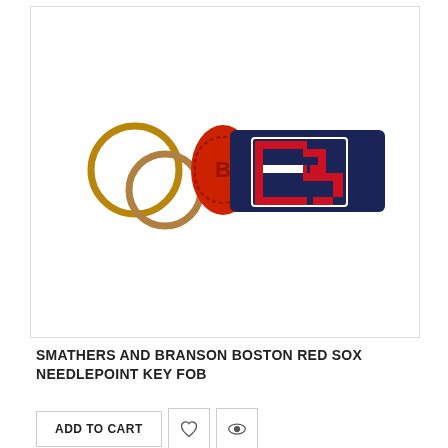[Figure (photo): A needlepoint key fob with navy blue background featuring the Boston Red Sox logo in red and white needlepoint stitching. Two gold key rings are attached to a red leather tab on the left side of the fob.]
SMATHERS AND BRANSON BOSTON RED SOX NEEDLEPOINT KEY FOB
ADD TO CART